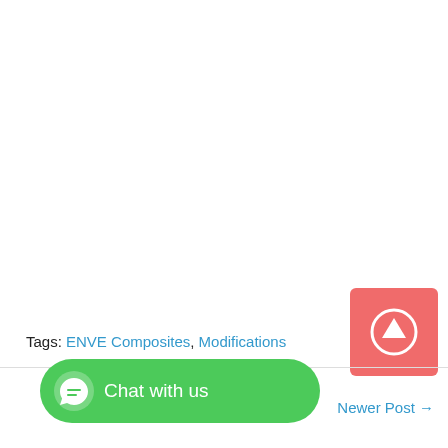Tags: ENVE Composites, Modifications
Chat with us
← Newer Post →